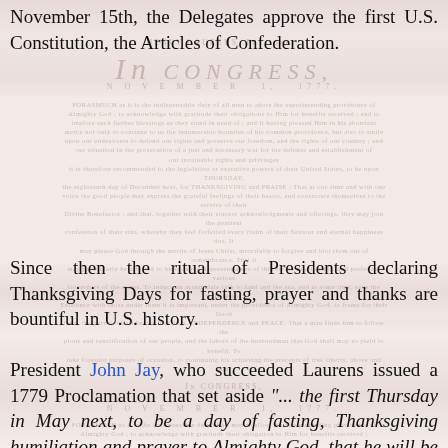November 15th, the Delegates approve the first U.S. Constitution, the Articles of Confederation.
[Figure (illustration): Faded background image of the Articles of Confederation document from the Continental Congress, dated November 1, 1777, with 'In CONGRESS, NOVEMBER 1, 1777' heading and dense period text.]
Since then the ritual of Presidents declaring Thanksgiving Days for fasting, prayer and thanks are bountiful in U.S. history.
President John Jay, who succeeded Laurens issued a 1779 Proclamation that set aside "... the first Thursday in May next, to be a day of fasting, Thanksgiving humiliation and prayer to Almighty God, that he will be pleased to avert those impending calamities which we have but too well deserved."